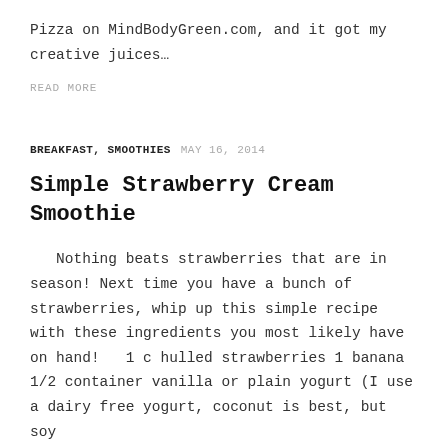Pizza on MindBodyGreen.com, and it got my creative juices…
READ MORE
BREAKFAST, SMOOTHIES   MAY 16, 2014
Simple Strawberry Cream Smoothie
Nothing beats strawberries that are in season! Next time you have a bunch of strawberries, whip up this simple recipe with these ingredients you most likely have on hand!   1 c hulled strawberries 1 banana 1/2 container vanilla or plain yogurt (I use a dairy free yogurt, coconut is best, but soy